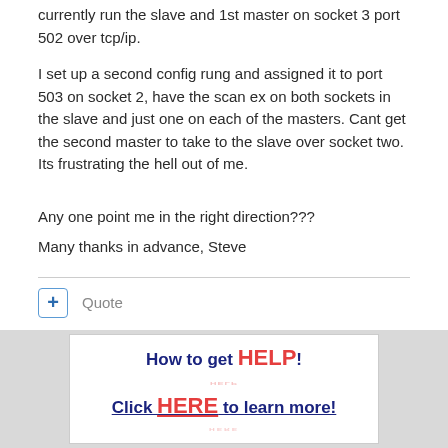currently run the slave and 1st master on socket 3 port 502 over tcp/ip.
I set up a second config rung and assigned it to port 503 on socket 2, have the scan ex on both sockets in the slave and just one on each of the masters. Cant get the second master to take to the slave over socket two. Its frustrating the hell out of me.
Any one point me in the right direction???
Many thanks in advance, Steve
Quote
[Figure (infographic): Advertisement banner with white box on gray background. Text reads 'How to get HELP!' and 'Click HERE to learn more!' with HELP and HERE in large red bold text, rest in dark navy bold text.]